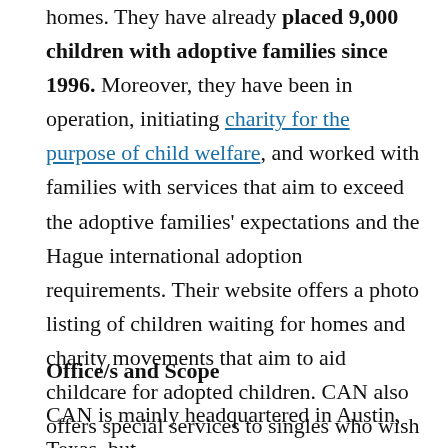homes. They have already placed 9,000 children with adoptive families since 1996. Moreover, they have been in operation, initiating charity for the purpose of child welfare, and worked with families with services that aim to exceed the adoptive families' expectations and the Hague international adoption requirements. Their website offers a photo listing of children waiting for homes and charity movements that aim to aid childcare for adopted children. CAN also offers special services to singles who wish to be future adoptive parents.
Office/s and Scope
CAN is mainly headquartered in Austin, Texas, but serves families outside the state and even offers